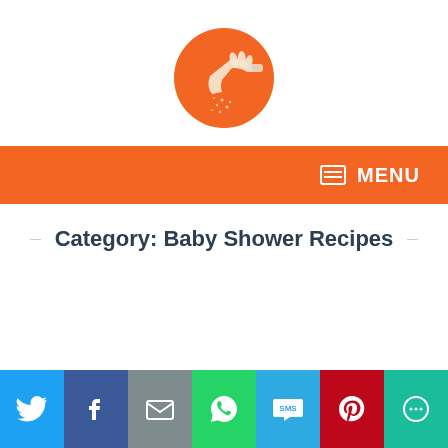[Figure (logo): Orange circle logo with a hand sprinkling salt/seasoning, white hand silhouette on orange background]
MENU
Category: Baby Shower Recipes
[Figure (infographic): Social media share buttons bar at bottom: Twitter, Facebook, Email, WhatsApp, SMS, Pinterest, More]